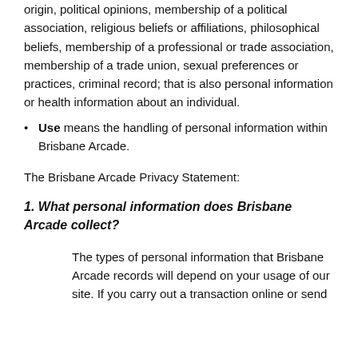origin, political opinions, membership of a political association, religious beliefs or affiliations, philosophical beliefs, membership of a professional or trade association, membership of a trade union, sexual preferences or practices, criminal record; that is also personal information or health information about an individual.
Use means the handling of personal information within Brisbane Arcade.
The Brisbane Arcade Privacy Statement:
1. What personal information does Brisbane Arcade collect?
The types of personal information that Brisbane Arcade records will depend on your usage of our site. If you carry out a transaction online or send